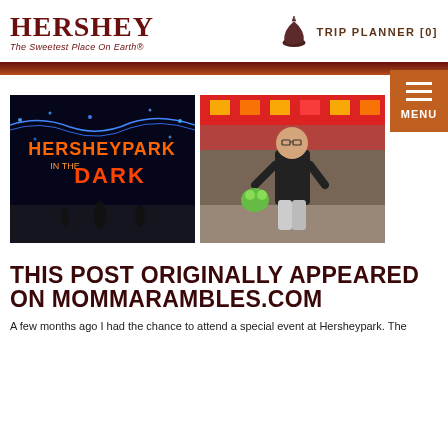HERSHEY - The Sweetest Place On Earth®
TRIP PLANNER [0]
[Figure (photo): Hersheypark in the Dark illuminated park entrance at night with colorful lights]
[Figure (photo): Young boy standing at an amusement park game booth holding a stuffed animal]
THIS POST ORIGINALLY APPEARED ON MOMMARAMBLES.COM
A teaser paragraph beginning below the title.